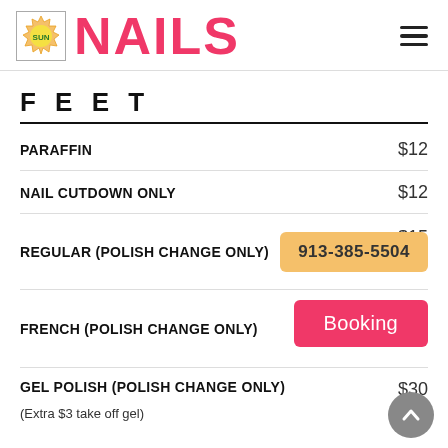[Figure (logo): Sun Nails logo: a sun badge icon with 'SUN' text, followed by large pink 'NAILS' text]
FEET
| Item | Price |
| --- | --- |
| PARAFFIN | $12 |
| NAIL CUTDOWN ONLY | $12 |
| REGULAR (POLISH CHANGE ONLY) | $15 |
| FRENCH (POLISH CHANGE ONLY) | $17 |
| GEL POLISH (POLISH CHANGE ONLY) | $30 |
(Extra $3 take off gel)